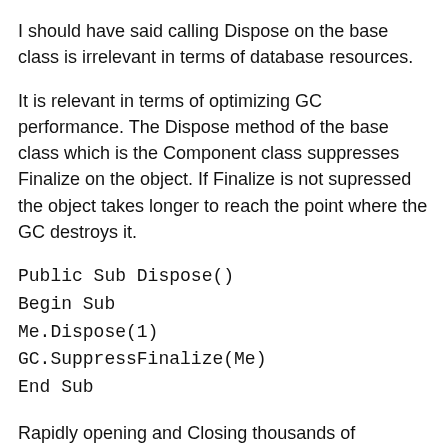I should have said calling Dispose on the base class is irrelevant in terms of database resources.
It is relevant in terms of optimizing GC performance. The Dispose method of the base class which is the Component class suppresses Finalize on the object. If Finalize is not supressed the object takes longer to reach the point where the GC destroys it.
Public Sub Dispose()
Begin Sub
Me.Dispose(1)
GC.SuppressFinalize(Me)
End Sub
Rapidly opening and Closing thousands of SqlConnection objects (rather than disposing them bloats the GC Finalizer queue, slowing down the application.